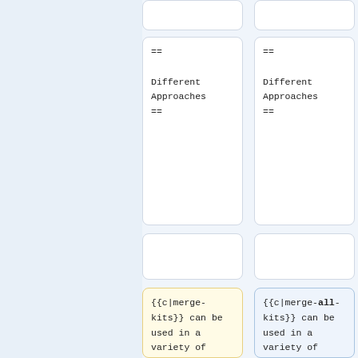== Different Approaches ==
== Different Approaches ==
{{c|merge-kits}} can be used in a variety of ways. If you are an individual developer, you may want to use {{c|merge-kits}} in ''developer mode'',
{{c|merge-all-kits}} can be used in a variety of ways. If you are an individual developer, you may want to use {{c|merge-all-kits}} in